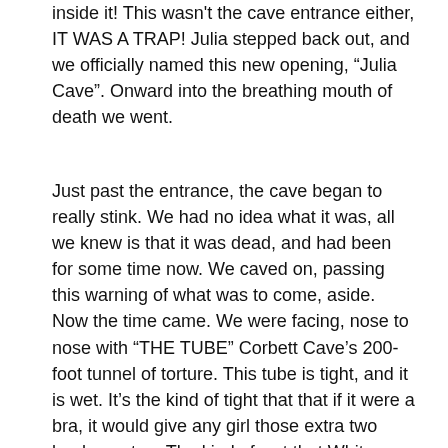inside it! This wasn't the cave entrance either, IT WAS A TRAP! Julia stepped back out, and we officially named this new opening, “Julia Cave". Onward into the breathing mouth of death we went.
Just past the entrance, the cave began to really stink. We had no idea what it was, all we knew is that it was dead, and had been for some time now. We caved on, passing this warning of what was to come, aside. Now the time came. We were facing, nose to nose with “THE TUBE” Corbett Cave’s 200-foot tunnel of torture. This tube is tight, and it is wet. It’s the kind of tight that that if it were a bra, it would give any girl those extra two boobs on top. The kind of wet that Whitney gets after an udder-squirting fight in Amish country.